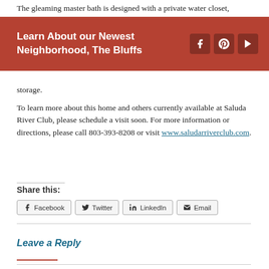The gleaming master bath is designed with a private water closet, separate vanities, large tile shower, and linen closet. Also
Learn About our Newest Neighborhood, The Bluffs
storage.
To learn more about this home and others currently available at Saluda River Club, please schedule a visit soon. For more information or directions, please call 803-393-8208 or visit www.saludariverclub.com.
Share this:
Facebook
Twitter
LinkedIn
Email
Leave a Reply